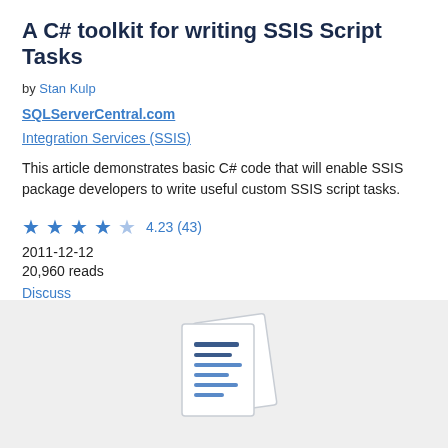A C# toolkit for writing SSIS Script Tasks
by Stan Kulp
SQLServerCentral.com
Integration Services (SSIS)
This article demonstrates basic C# code that will enable SSIS package developers to write useful custom SSIS script tasks.
★ ★ ★ ★ ☆ 4.23 (43)
2011-12-12
20,960 reads
Discuss
[Figure (illustration): Document/paper icon illustration on gray background panel at the bottom of the page]